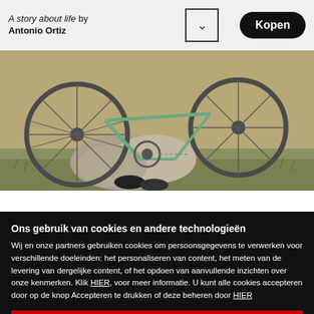A story about life by Antonio Ortiz
[Figure (photo): Outdoor photo showing bicycle wheels leaning against rocks with a person's feet/shoes visible, set in a natural grassy environment]
Ons gebruik van cookies en andere technologieën
Wij en onze partners gebruiken cookies om persoonsgegevens te verwerken voor verschillende doeleinden: het personaliseren van content, het meten van de levering van dergelijke content, of het opdoen van aanvullende inzichten over onze kenmerken. Klik HIER, voor meer informatie. U kunt alle cookies accepteren door op de knop Accepteren te drukken of deze beheren door HIER
ALLES ACCEPTEREN
Beheer cookies